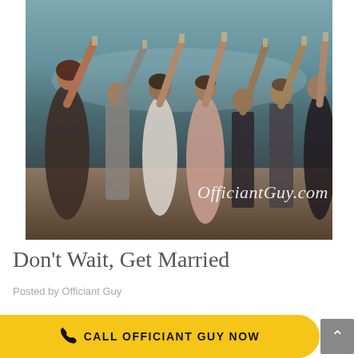[Figure (photo): Wedding toast photo showing a group of people raising glasses outdoors near the ocean. Women in formal dresses (black patterned, white, pink, white bridal) and men in dress shirts raising champagne/drink glasses together. Watermark reads 'OfficiantGuy.com' in white italic text on lower right of photo.]
Don't Wait, Get Married
Posted by Officiant Guy
CALL OFFICIANT GUY NOW